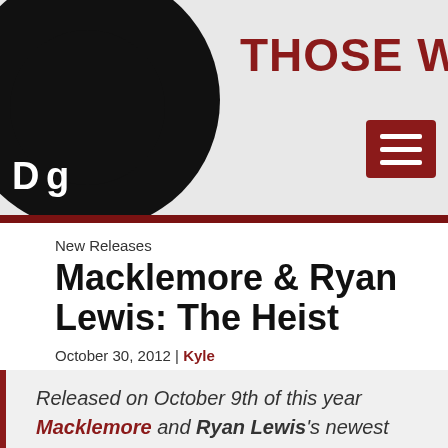[Figure (logo): Those Who Dig website logo with black circular shape and white 'Dig' text, with site title 'THOSE WHO DIG' in dark red]
THOSE WHO DIG
New Releases
Macklemore & Ryan Lewis: The Heist
October 30, 2012 | Kyle
Released on October 9th of this year Macklemore and Ryan Lewis's newest album The Heist was welcomed with a number 1 spot on the US ITunes download